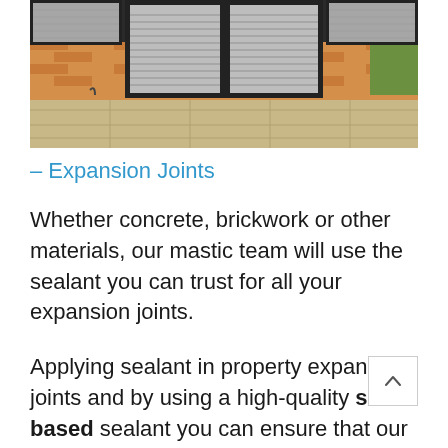[Figure (photo): Exterior photo of a brick building with dark-framed French doors/windows and horizontal blinds, with a paved patio area in the foreground and greenery visible to the right.]
– Expansion Joints
Whether concrete, brickwork or other materials, our mastic team will use the sealant you can trust for all your expansion joints.
Applying sealant in property expansion joints and by using a high-quality silic-based sealant you can ensure that our